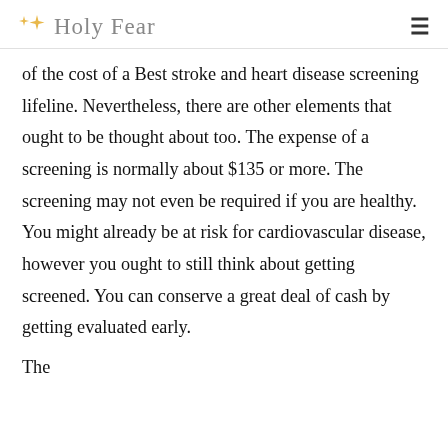Holy Fear
of the cost of a Best stroke and heart disease screening lifeline. Nevertheless, there are other elements that ought to be thought about too. The expense of a screening is normally about $135 or more. The screening may not even be required if you are healthy. You might already be at risk for cardiovascular disease, however you ought to still think about getting screened. You can conserve a great deal of cash by getting evaluated early.
The…